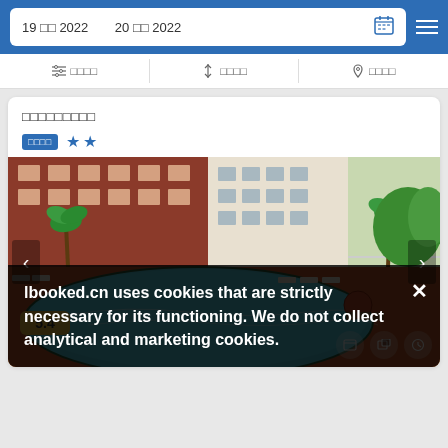19 □□ 2022  20 □□ 2022
□□□□  ↑↓ □□□□  ◎ □□□□
□□□□□□□□□
□□□□ ★★
[Figure (photo): Aerial view of a hotel outdoor swimming pool with lounge chairs, palm trees, and red/terracotta patio area surrounding the pool.]
5.4
lbooked.cn uses cookies that are strictly necessary for its functioning. We do not collect analytical and marketing cookies.